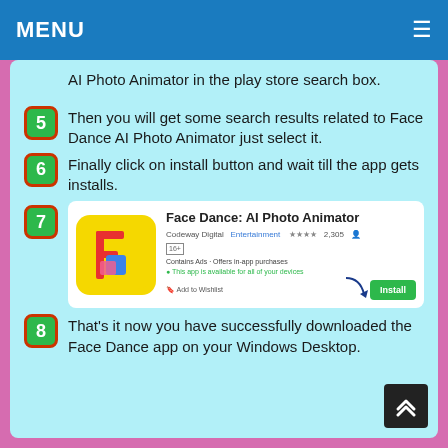MENU
AI Photo Animator in the play store search box.
5 Then you will get some search results related to Face Dance AI Photo Animator just select it.
6 Finally click on install button and wait till the app gets installs.
[Figure (screenshot): Screenshot of Face Dance: AI Photo Animator app in the Google Play Store with install button highlighted by an arrow.]
8 That's it now you have successfully downloaded the Face Dance app on your Windows Desktop.